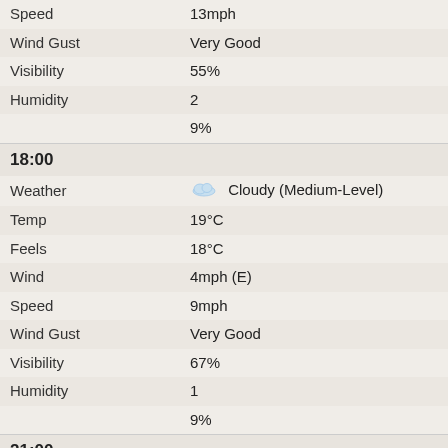| Field | Value |
| --- | --- |
| Speed | 13mph |
| Wind Gust | Very Good |
| Visibility | 55% |
| Humidity | 2 |
|  | 9% |
18:00
| Field | Value |
| --- | --- |
| Weather | Cloudy (Medium-Level) |
| Temp | 19°C |
| Feels | 18°C |
| Wind | 4mph (E) |
| Speed | 9mph |
| Wind Gust | Very Good |
| Visibility | 67% |
| Humidity | 1 |
|  | 9% |
21:00
| Field | Value |
| --- | --- |
| Weather | Cloudy (Medium-Level) |
| Temp | 16°C |
| Feels | 15°C |
| Wind | 7mph (ESE) |
| Speed | 13mph |
| Wind Gust | Very Good |
| Visibility | 74% |
| Humidity | 0 |